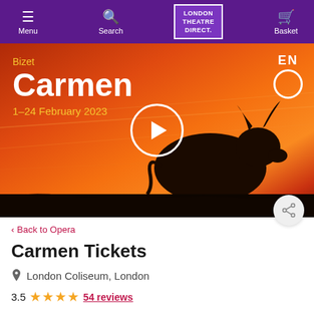Menu | London Theatre Direct | Search | Basket
[Figure (photo): Hero banner for Bizet's Carmen opera. Orange-red sunset background with a bull silhouette. Text: Bizet, Carmen, 1-24 February 2023. ENO logo top right. Play button overlay in center.]
< Back to Opera
Carmen Tickets
London Coliseum, London
3.5 ★★★★ 54 reviews